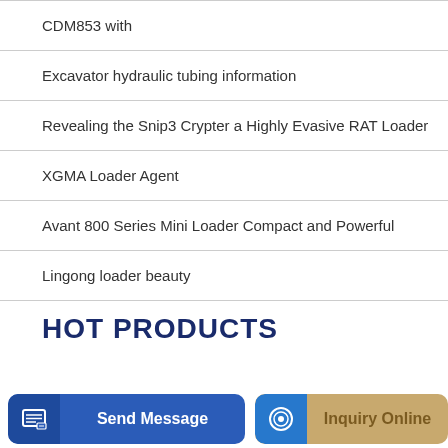CDM853 with
Excavator hydraulic tubing information
Revealing the Snip3 Crypter a Highly Evasive RAT Loader
XGMA Loader Agent
Avant 800 Series Mini Loader Compact and Powerful
Lingong loader beauty
HOT PRODUCTS
Send Message | Inquiry Online